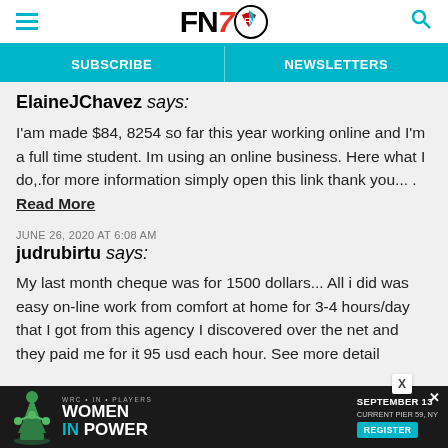FN7 (logo with hamburger menu and search icon)
SUBSCRIBE  NEWSLETTERS
ElaineJChavez says:
I'am made $84, 8254 so far this year working online and I'm a full time student. Im using an online business. Here what I do,.for more information simply open this link thank you... . Read More
JUNE 26, 2020 AT 6:08 AM
judrubirtu says:
My last month cheque was for 1500 dollars... All i did was easy on-line work from comfort at home for 3-4 hours/day that I got from this agency I discovered over the net and they paid me for it 95 usd each hour. See more detail
[Figure (infographic): Advertisement banner: Women In Power event, September 13, Current Pier 59 NY, with Register button and chess queen piece graphic]